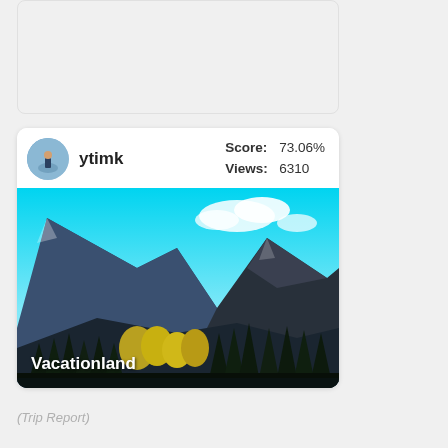[Figure (other): Empty card placeholder at the top of the page, light gray background]
ytimk
Score: 73.06%
Views: 6310
[Figure (photo): Mountain landscape with tall evergreen trees in foreground, yellow-leafed deciduous trees, rocky mountain slopes, and bright blue sky with clouds. Photo titled 'Vacationland'.]
Vacationland
(Trip Report)